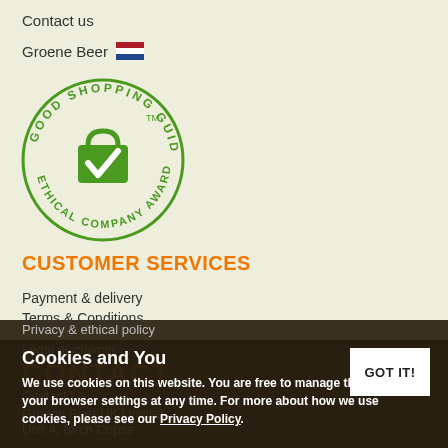Contact us
Groene Beer 🇳🇱
[Figure (logo): Good Shopping Guide Ethical Company Award circular badge with green shopping bag and checkmark in the center]
CUSTOMER SERVICES
Payment & delivery
Terms & Conditions
Privacy & ethical policy
Legal disclaimer
CONTACT
Contact Us
Groene Beer UK Limited
Unit 4, Birch Copse
Cookies and You
We use cookies on this website. You are free to manage these via your browser settings at any time. For more about how we use cookies, please see our Privacy Policy.
GOT IT!